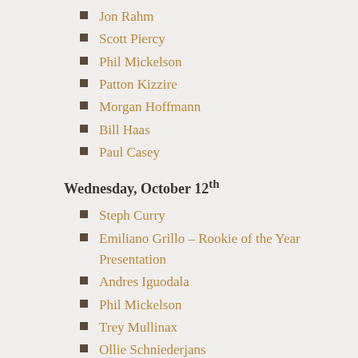Jon Rahm
Scott Piercy
Phil Mickelson
Patton Kizzire
Morgan Hoffmann
Bill Haas
Paul Casey
Wednesday, October 12th
Steph Curry
Emiliano Grillo – Rookie of the Year Presentation
Andres Iguodala
Phil Mickelson
Trey Mullinax
Ollie Schniederjans
Harold Varner III
Bobby Wyatt